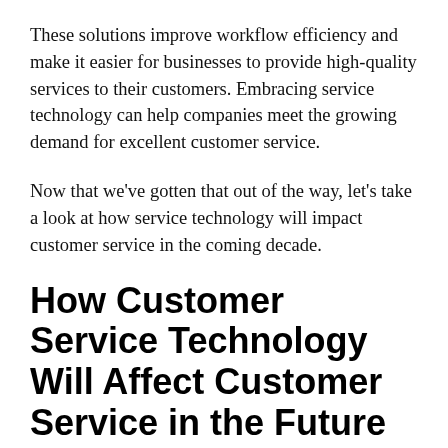These solutions improve workflow efficiency and make it easier for businesses to provide high-quality services to their customers. Embracing service technology can help companies meet the growing demand for excellent customer service.
Now that we've gotten that out of the way, let's take a look at how service technology will impact customer service in the coming decade.
How Customer Service Technology Will Affect Customer Service in the Future
1. There will be more face-to-face video